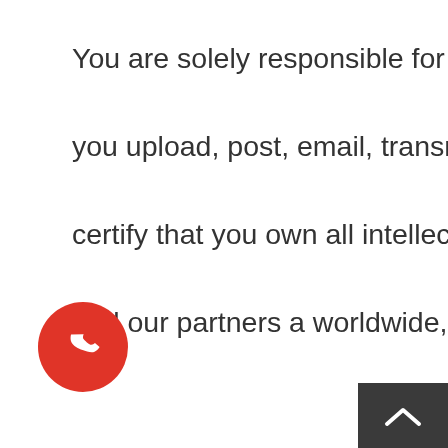You are solely responsible for all materials, whether publicly posted or privately transmitted, that you upload, post, email, transmit or otherwise make available on our sites. You warrant and certify that you own all intellectual property rights in Your Content or that you have granted us and our partners a worldwide, irrevocable, royalty-free, non-exclusive, sublicensable right and license to use, reproduce, create derivative works of, distribute, publicly perform, publicly display, make available, distribute and publish Your Content and subsequent versions of Your Content, for the purposes of (i) displaying Your Content on our sites, (ii) distributing Your Content, whether electronically or via other media, to users seeking to download or otherwise acquire it, and/or (iii) storing Your Content in a remote database accessible by end users, for a charge. This license applies to the distribution and the storage of Your Content in any form, medium, or technology now known or hereafter developed. Our site contains content that we create as well as content provided by third parties. Our site includes, among other things, single posts, ongoing it and
[Figure (other): Red circular phone/call button icon at bottom left]
[Figure (other): Dark grey scroll-to-top arrow button at bottom right]